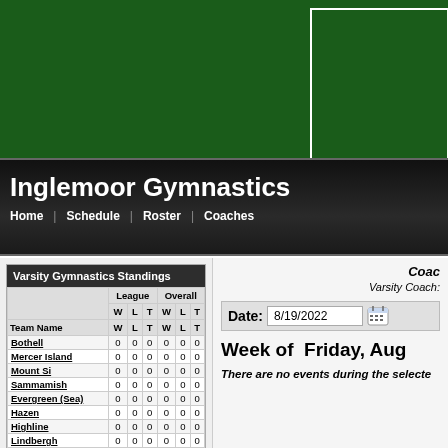[Figure (other): Green banner background with white bordered box in upper right]
Inglemoor Gymnastics
Home | Schedule | Roster | Coaches
| Team Name | W | L | T | W | L | T |
| --- | --- | --- | --- | --- | --- | --- |
| Bothell | 0 | 0 | 0 | 0 | 0 | 0 |
| Mercer Island | 0 | 0 | 0 | 0 | 0 | 0 |
| Mount Si | 0 | 0 | 0 | 0 | 0 | 0 |
| Sammamish | 0 | 0 | 0 | 0 | 0 | 0 |
| Evergreen (Sea) | 0 | 0 | 0 | 0 | 0 | 0 |
| Hazen | 0 | 0 | 0 | 0 | 0 | 0 |
| Highline | 0 | 0 | 0 | 0 | 0 | 0 |
| Lindbergh | 0 | 0 | 0 | 0 | 0 | 0 |
| Renton | 0 | 0 | 0 | 0 | 0 | 0 |
| Tyee | 0 | 0 | 0 | 0 | 0 | 0 |
Coac
Varsity Coach:
Date: 8/19/2022
Week of  Friday, Aug
There are no events during the selecte